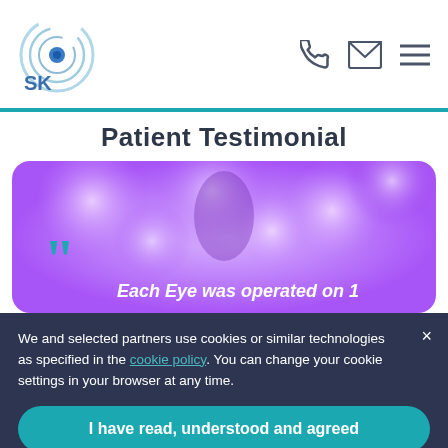SK logo, phone icon, email icon, menu icon
Patient Testimonial
[Figure (illustration): Purple blurred bokeh background with teal quotation marks and partial italic white text: Each Eye was operated on 1]
We and selected partners use cookies or similar technologies as specified in the cookie policy. You can change your cookie settings in your browser at any time.
I have read, understood and agreed
Learn more